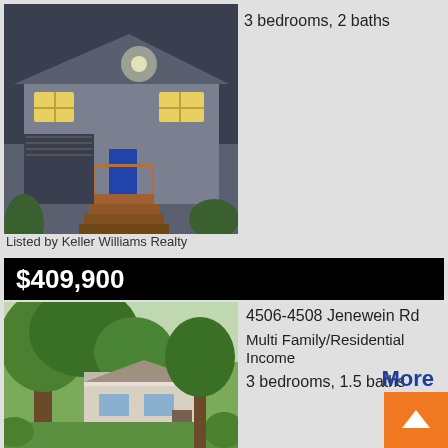[Figure (photo): Exterior photo of a house at night with lit windows and a wooden deck/stairs]
3 bedrooms, 2 baths
Listed by Keller Williams Realty
$409,900
[Figure (photo): Exterior photo of a house with large trees in the foreground]
4506-4508 Jenewein Rd
Multi Family/Residential Income
3 bedrooms, 1.5 baths
Listed by Stark Company, Realtors
More